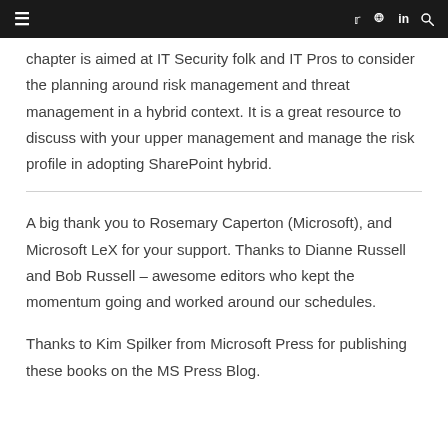≡  (navigation bar with twitter, rss, linkedin, search icons)
chapter is aimed at IT Security folk and IT Pros to consider the planning around risk management and threat management in a hybrid context. It is a great resource to discuss with your upper management and manage the risk profile in adopting SharePoint hybrid.
A big thank you to Rosemary Caperton (Microsoft), and Microsoft LeX for your support. Thanks to Dianne Russell and Bob Russell – awesome editors who kept the momentum going and worked around our schedules.
Thanks to Kim Spilker from Microsoft Press for publishing these books on the MS Press Blog.